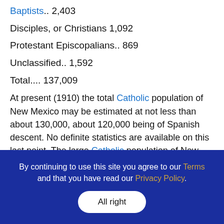Baptists.. 2,403
Disciples, or Christians 1,092
Protestant Episcopalians.. 869
Unclassified.. 1,592
Total.... 137,009
At present (1910) the total Catholic population of New Mexico may be estimated at not less than about 130,000, about 120,000 being of Spanish descent. No definite statistics are available on this last point. The large Catholic population of New Mexico is due to its having been colonized by the Spaniards, whose first
By continuing to use this site you agree to our Terms and that you have read our Privacy Policy.
All right